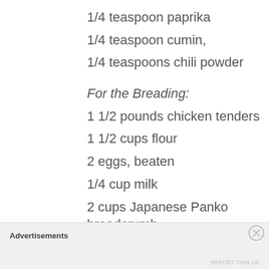1/4 teaspoon paprika
1/4 teaspoon cumin,
1/4 teaspoons chili powder
For the Breading:
1 1/2 pounds chicken tenders
1 1/2 cups flour
2 eggs, beaten
1/4 cup milk
2 cups Japanese Panko breadcrumb
Salt, to taste
Ground black pepper, to taste
Advertisements